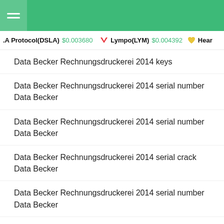Navigation header with green background and hamburger menu
LA Protocol(DSLA) $0.003680 | Lympo(LYM) $0.004392 | Hear...
Data Becker Rechnungsdruckerei 2014 keys
Data Becker Rechnungsdruckerei 2014 serial number Data Becker
Data Becker Rechnungsdruckerei 2014 serial number Data Becker
Data Becker Rechnungsdruckerei 2014 serial crack Data Becker
Data Becker Rechnungsdruckerei 2014 serial number Data Becker
Data Becker Rechnungsdruckerei 2014 serial number Data Becker
Data Becker Rechnungsdruckerei 2014 serial